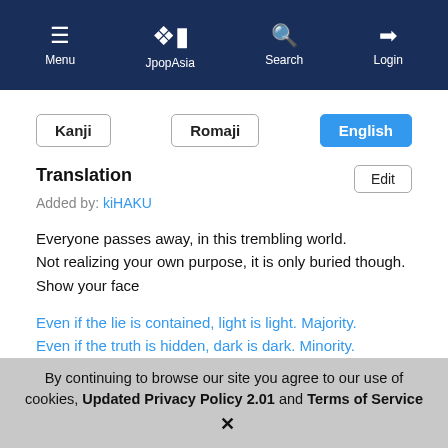Menu | JpopAsia | Search | Login
Kanji | Romaji | English
Translation
Added by: kiHAKU
Everyone passes away, in this trembling world.
Not realizing your own purpose, it is only buried though.
Show your face
Even if the lie is contained, light is light. Majority.
Even if the truth is hidden, dark is dark. Minority.
The definition of justice ? Don't you think everyone will define it differently ?
Is it not worthy of the truth ?
Something will change if tomorrow comes, it will make a mistake.
Nothing will change if it does not now, with the heart as the weapon.
By continuing to browse our site you agree to our use of cookies, Updated Privacy Policy 2.01 and Terms of Service ✕